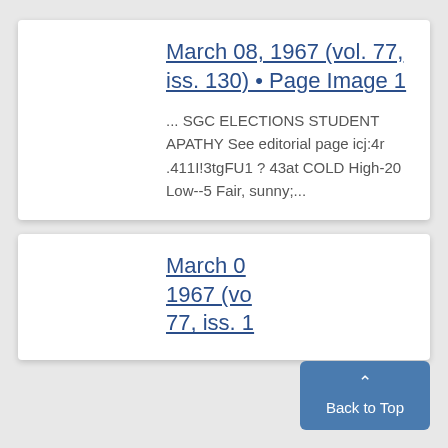March 08, 1967 (vol. 77, iss. 130) • Page Image 1
... SGC ELECTIONS STUDENT APATHY See editorial page icj:4r .411I!3tgFU1 ? 43at COLD High-20 Low--5 Fair, sunny;...
March 0... 1967 (vo... 77, iss. 1...